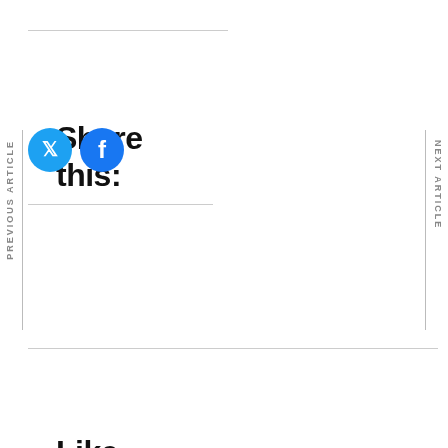Share this:
[Figure (illustration): Two circular social media icons: Twitter (blue bird icon) and Facebook (blue 'f' icon)]
Like this:
Loading...
PREVIOUS ARTICLE
NEXT ARTICLE